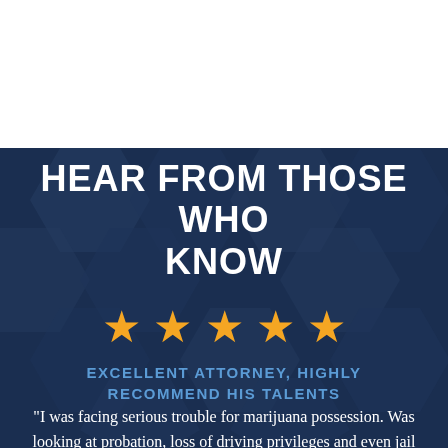HEAR FROM THOSE WHO KNOW
[Figure (other): Five gold star rating icons in a row]
EXCELLENT ATTORNEY, HIGHLY RECOMMEND HIS TALENTS
"I was facing serious trouble for marijuana possession. Was looking at probation, loss of driving privileges and even jail time. Travis's great knowledge